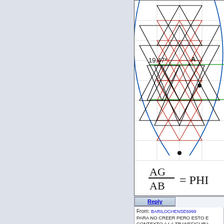[Figure (engineering-diagram): Geometric diagram showing a Flower of Life / Metatron's Cube pattern with overlapping circles, triangles in black and red/orange, a blue arc (circle), green horizontal lines indicating 19.47 degrees angle, point labeled A, and a formula AG/AB = PHI at the bottom.]
From: BARILOCHENSE6999
PARA NO CREER PERO ESTO E... CONTEXTO A LA TRANSFIGURA... SERPIENTE. TODO ES UN NEXO...